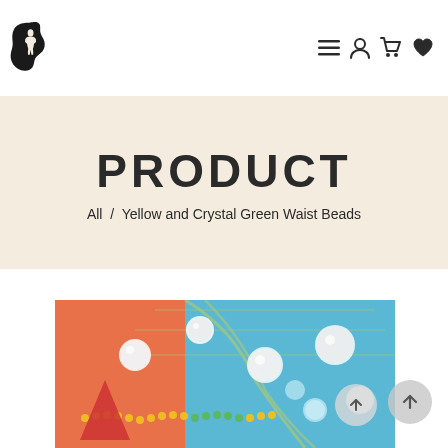[Figure (logo): Black silhouette logo: woman figure with afro hair shaped within Africa continent outline]
[Figure (illustration): Navigation icons: hamburger menu, user/person icon, shopping cart icon, heart/wishlist icon]
PRODUCT
All  /  Yellow and Crystal Green Waist Beads
[Figure (photo): Close-up photo of colorful beads including yellow, green seed beads and white/clear pearl-like beads on a blue and orange background, showing Yellow and Crystal Green Waist Beads product]